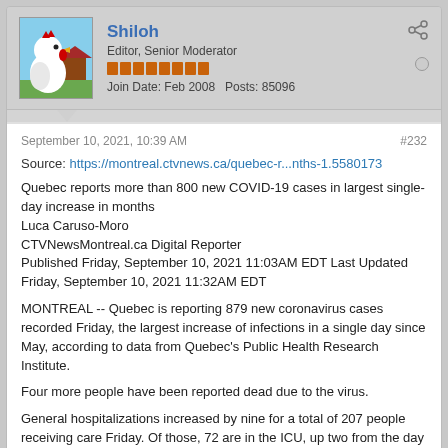Shiloh
Editor, Senior Moderator
Join Date: Feb 2008   Posts: 85096
September 10, 2021, 10:39 AM
#232
Source: https://montreal.ctvnews.ca/quebec-r...nths-1.5580173
Quebec reports more than 800 new COVID-19 cases in largest single-day increase in months
Luca Caruso-Moro
CTVNewsMontreal.ca Digital Reporter
Published Friday, September 10, 2021 11:03AM EDT Last Updated Friday, September 10, 2021 11:32AM EDT
MONTREAL -- Quebec is reporting 879 new coronavirus cases recorded Friday, the largest increase of infections in a single day since May, according to data from Quebec's Public Health Research Institute.
Four more people have been reported dead due to the virus.
General hospitalizations increased by nine for a total of 207 people receiving care Friday. Of those, 72 are in the ICU, up two from the day before.